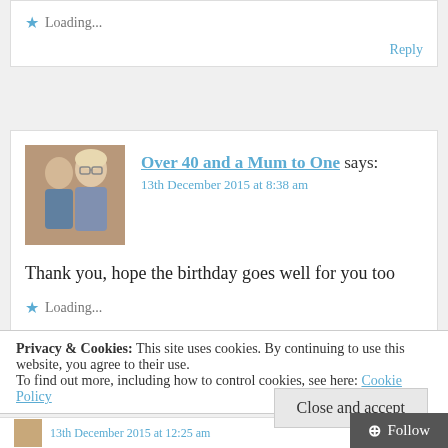Loading...
Reply
Over 40 and a Mum to One says:
13th December 2015 at 8:38 am
Thank you, hope the birthday goes well for you too
Loading...
Privacy & Cookies: This site uses cookies. By continuing to use this website, you agree to their use.
To find out more, including how to control cookies, see here: Cookie Policy
Close and accept
13th December 2015 at 12:25 am
Follow